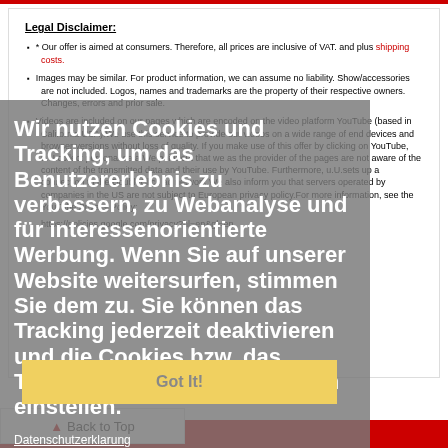Legal Disclaimer:
* Our offer is aimed at consumers. Therefore, all prices are inclusive of VAT. and plus shipping costs.
Images may be similar. For product information, we can assume no liability. Show/accessories are not included. Logos, names and trademarks are the property of their respective owners. Changes, errors and prior sale.
Videos are included on our pages which are encoded on the video platform YouTube (based in California USA).We use this service to provide our videos on a wide range of end devices and browser versions without loss of quality. If you make use of this offer by clicking on YouTube, u.U.collect personal data.We point out that we as the provider of the pages are not aware of the content of the transmitted data and their use by YouTube. Furthermore, u.U.sets up a connection to the DoubleClick ad network.We also inform you that servers operated by companies in the US are not subject to European privacy policy.For more information, see the YouTube Privacy Policy:
https://policies.google.com/privacy?hl=en&gl=en
Wir nutzen Cookies und Tracking, um das Benutzererlebnis zu verbessern, zu Webanalyse und für interessenorientierte Werbung. Wenn Sie auf unserer Website weitersurfen, stimmen Sie dem zu. Sie können das Tracking jederzeit deaktivieren und die Cookies bzw. das Tracking nach Ihren Wünschen einstellen.
Datenschutzerklarung
Read Privacy Policy
Got It!
Back to Top
No shipping!